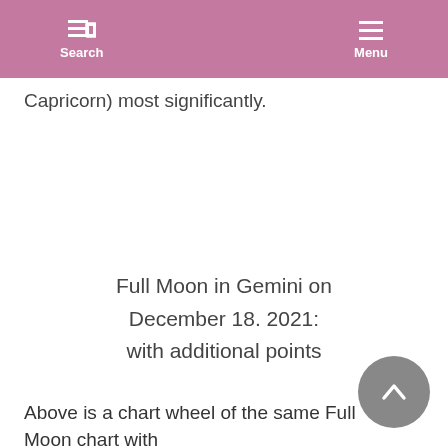Search  Menu
Capricorn) most significantly.
Full Moon in Gemini on December 18. 2021: with additional points
Above is a chart wheel of the same Full Moon chart with additional points